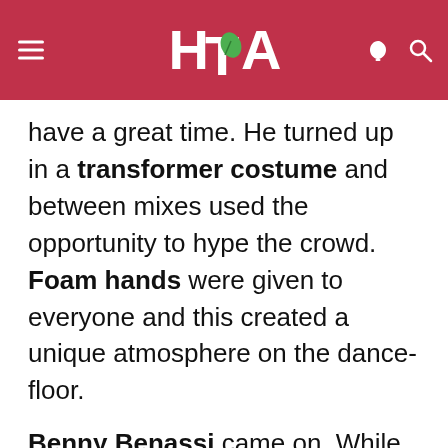HTA (logo with green leaf)
have a great time. He turned up in a transformer costume and between mixes used the opportunity to hype the crowd. Foam hands were given to everyone and this created a unique atmosphere on the dance-floor.
Benny Benassi came on. While it was still EDM music, Benny Benassi's set was slightly more repetitive than Laidback Luke, and to be honest I found it a little monotonous. It seemed to be an endless cycle of "BOOM BOOM BOOM, PAUSE, DROP, ICE CANNON"